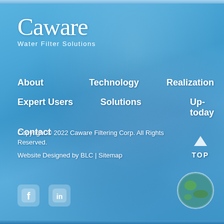[Figure (logo): Caware Water Filter Solutions logo - white text on blue water background]
About
Technology
Realization
Expert Users
Solutions
Up-today
Contact
Copyright © 2022 Caware Filtering Corp. All Rights Reserved.
Website Designed by BLC | Sitemap
[Figure (illustration): Facebook and LinkedIn social media icons]
[Figure (photo): Globe/earth photo with green and blue tones]
[Figure (illustration): TOP back-to-top button with upward arrow]